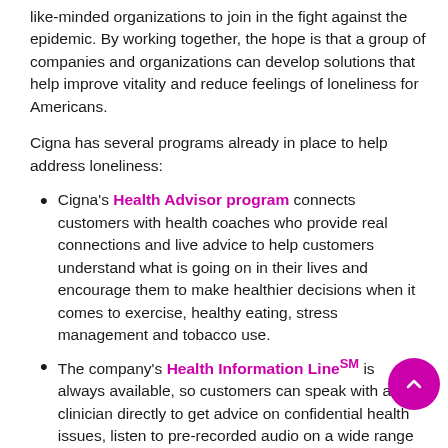like-minded organizations to join in the fight against the epidemic. By working together, the hope is that a group of companies and organizations can develop solutions that help improve vitality and reduce feelings of loneliness for Americans.
Cigna has several programs already in place to help address loneliness:
Cigna's Health Advisor program connects customers with health coaches who provide real connections and live advice to help customers understand what is going on in their lives and encourage them to make healthier decisions when it comes to exercise, healthy eating, stress management and tobacco use.
The company's Health Information Line℠ is always available, so customers can speak with a clinician directly to get advice on confidential health issues, listen to pre-recorded audio on a wide range of health topics.